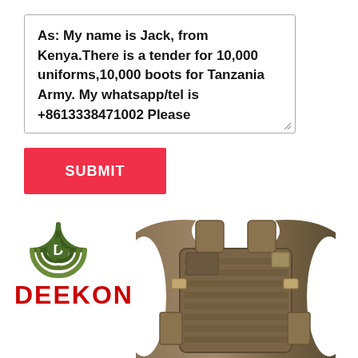As: My name is Jack, from Kenya.There is a tender for 10,000 uniforms,10,000 boots for Tanzania Army. My whatsapp/tel is +8613338471002 Please
[Figure (other): A red SUBMIT button on a white background]
[Figure (logo): DEEKON company logo with camouflage circular signal icon and red DEEKON text]
[Figure (photo): Tan/coyote brown tactical plate carrier body armor vest product photo on white background]